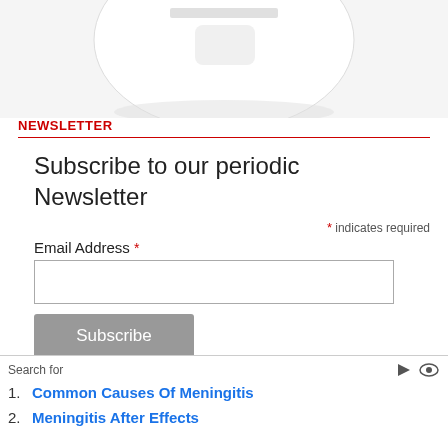[Figure (photo): Partial view of a white product (AirPods case or mug) at the top of the page]
NEWSLETTER
Subscribe to our periodic Newsletter
* indicates required
Email Address *
[Figure (screenshot): Bottom advertisement image showing a person and dark background]
Search for
1. Common Causes Of Meningitis
2. Meningitis After Effects